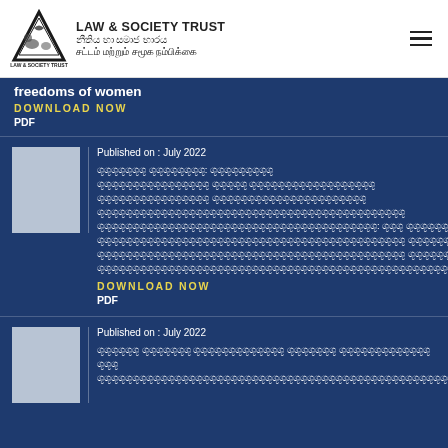[Figure (logo): Law & Society Trust triangle logo with text 'LAW & SOCIETY TRUST' in English, Sinhala, and Tamil]
freedoms of women
DOWNLOAD NOW
PDF
Published on : July 2022
[Sinhala/Tamil script publication title - multiple lines]
DOWNLOAD NOW
PDF
Published on : July 2022
[Sinhala/Tamil script publication title - partial]